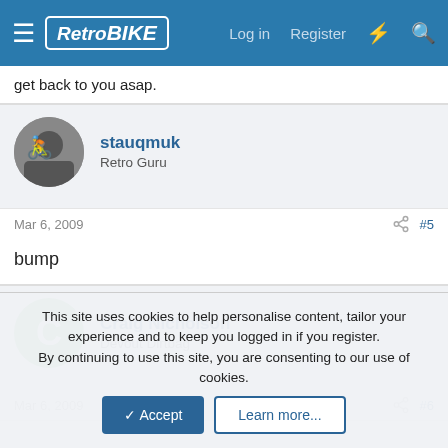RetroBIKE — Log in | Register
get back to you asap.
stauqmuk
Retro Guru
Mar 6, 2009  #5
bump
Craig Nicholson
Devout Dirtbag
Mar 6, 2009  #6
This site uses cookies to help personalise content, tailor your experience and to keep you logged in if you register.
By continuing to use this site, you are consenting to our use of cookies.